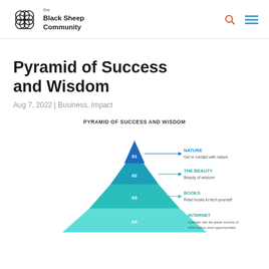the Black Sheep Community
Pyramid of Success and Wisdom
Aug 7, 2022 | Business, Impact
[Figure (infographic): Pyramid of Success and Wisdom infographic with 4 levels labeled 01-04. Level 01 (blue, top): NATURE - Get in contact with nature. Level 02 (teal-blue): THE BEAUTY - Beauty of wisdom. Level 03 (teal): BOOKS - Read books to tech yourself. Level 04 (light teal, base): INTERNET - Internet can be great source of information and opportunities.]